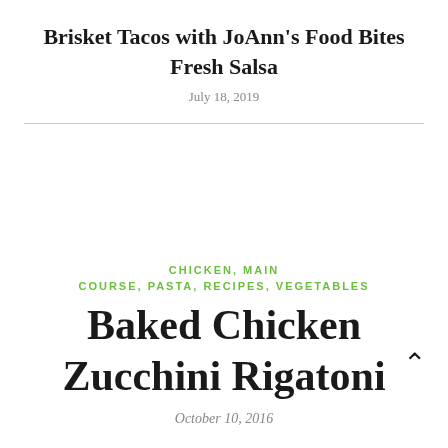Brisket Tacos with JoAnn's Food Bites Fresh Salsa
July 18, 2019
CHICKEN, MAIN COURSE, PASTA, RECIPES, VEGETABLES
Baked Chicken Zucchini Rigatoni
October 10, 2016